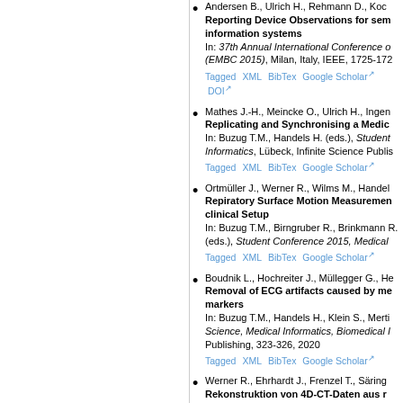Andersen B., Ulrich H., Rehmann D., Kock... Reporting Device Observations for sem... information systems. In: 37th Annual International Conference o... (EMBC 2015), Milan, Italy, IEEE, 1725-172...
Mathes J.-H., Meincke O., Ulrich H., Ingen... Replicating and Synchronising a Medic... In: Buzug T.M., Handels H. (eds.), Student... Informatics, Lübeck, Infinite Science Publis...
Ortmüller J., Werner R., Wilms M., Handel... Repiratory Surface Motion Measuremen... clinical Setup. In: Buzug T.M., Birngruber R., Brinkmann R. (eds.), Student Conference 2015, Medical...
Boudnik L., Hochreiter J., Müllegger G., He... Removal of ECG artifacts caused by me... markers. In: Buzug T.M., Handels H., Klein S., Merti... Science, Medical Informatics, Biomedical I... Publishing, 323-326, 2020
Werner R., Ehrhardt J., Frenzel T., Säring... Rekonstruktion von 4D-CT-Daten aus r... atmungsbedingter Organbewegungen. In: Handels H., Ehrhardt J., Horsch A., Me... 2006, Hamburg, Informatik aktuell, Spring...